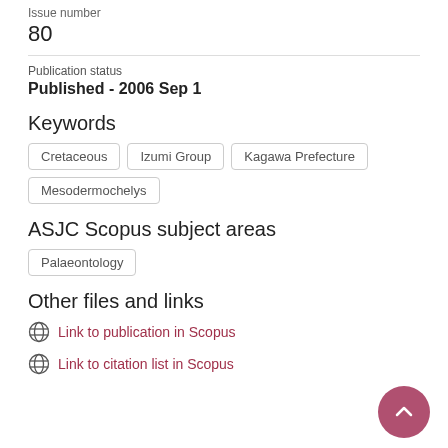Issue number
80
Publication status
Published - 2006 Sep 1
Keywords
Cretaceous
Izumi Group
Kagawa Prefecture
Mesodermochelys
ASJC Scopus subject areas
Palaeontology
Other files and links
Link to publication in Scopus
Link to citation list in Scopus